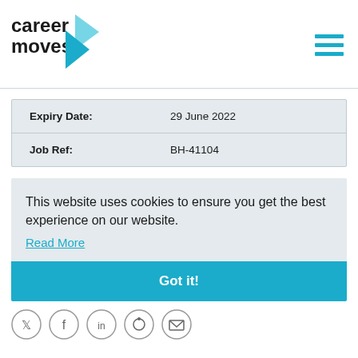[Figure (logo): Career Moves logo with teal arrow graphic and bold text 'career moves.']
| Expiry Date: | 29 June 2022 |
| Job Ref: | BH-41104 |
This website uses cookies to ensure you get the best experience on our website.
Read More
Got it!
[Figure (illustration): Row of social media icons: Twitter, Facebook, LinkedIn, and two more, shown partially at bottom]